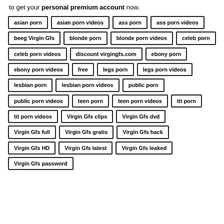to get your personal premium account now.
asian porn
asian porn videos
ass porn
ass porn videos
beeg Virgin Gfs
blonde porn
blonde porn videos
celeb porn
celeb porn videos
discount virgingfs.com
ebony porn
ebony porn videos
free
legs porn
legs porn videos
lesbian porn
lesbian porn videos
public porn
public porn videos
teen porn
teen porn videos
tit porn
tit porn videos
Virgin Gfs clips
Virgin Gfs dvd
Virgin Gfs full
Virgin Gfs gratis
Virgin Gfs hack
Virgin Gfs HD
Virgin Gfs latest
Virgin Gfs leaked
Virgin Gfs password